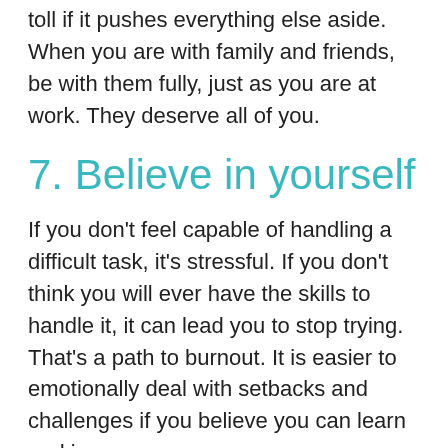toll if it pushes everything else aside. When you are with family and friends, be with them fully, just as you are at work. They deserve all of you.
7. Believe in yourself
If you don't feel capable of handling a difficult task, it's stressful. If you don't think you will ever have the skills to handle it, it can lead you to stop trying. That's a path to burnout. It is easier to emotionally deal with setbacks and challenges if you believe you can learn and improve.
Our brains retain an amazing capacity to build new neural pathways at any age. Adopt a Play mindset. Expect to learn every day, whether on the job or in a class. When you are constantly learning, what looks like failure is just one step